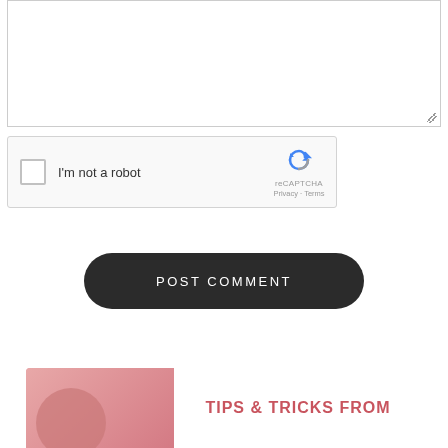[Figure (screenshot): Comment text area input box, blank, with resize handle in corner]
[Figure (screenshot): reCAPTCHA widget with checkbox 'I'm not a robot', reCAPTCHA logo, Privacy and Terms links]
POST COMMENT
[Figure (screenshot): Bottom card with pink image on left and title text 'TIPS & TRICKS FROM' in coral/red color on right]